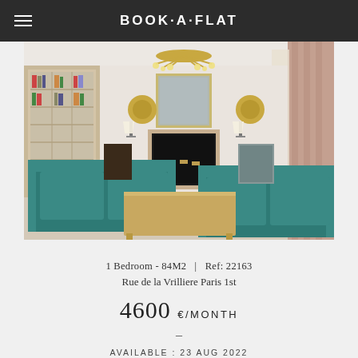BOOK·A·FLAT
[Figure (photo): Elegant Parisian living room with two teal velvet sofas, a wooden coffee table, an ornate gold chandelier, a marble fireplace with antique mirror, gold wall decorations, tall draped curtains, and a built-in bookshelf visible through an archway]
1 Bedroom - 84M2   |   Ref: 22163
Rue de la Vrilliere Paris 1st
4600 €/MONTH
–
AVAILABLE : 23 AUG 2022